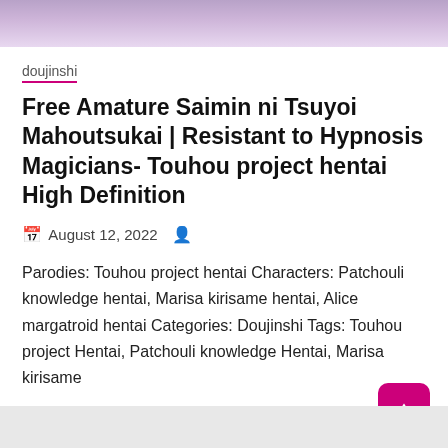[Figure (illustration): Top portion of an anime/manga style illustration with purple-haired character, partially cropped]
doujinshi
Free Amature Saimin ni Tsuyoi Mahoutsukai | Resistant to Hypnosis Magicians- Touhou project hentai High Definition
August 12, 2022
Parodies: Touhou project hentai Characters: Patchouli knowledge hentai, Marisa kirisame hentai, Alice margatroid hentai Categories: Doujinshi Tags: Touhou project Hentai, Patchouli knowledge Hentai, Marisa kirisame
View Now